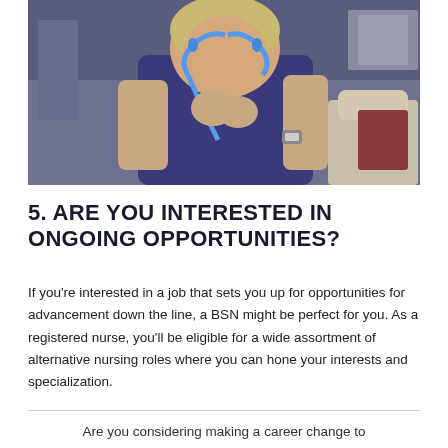[Figure (photo): A nurse wearing dark blue scrubs holding a blue stethoscope up to their ears, leaning forward, with medical equipment visible in the background]
5. ARE YOU INTERESTED IN ONGOING OPPORTUNITIES?
If you're interested in a job that sets you up for opportunities for advancement down the line, a BSN might be perfect for you. As a registered nurse, you'll be eligible for a wide assortment of alternative nursing roles where you can hone your interests and specialization.
Are you considering making a career change to